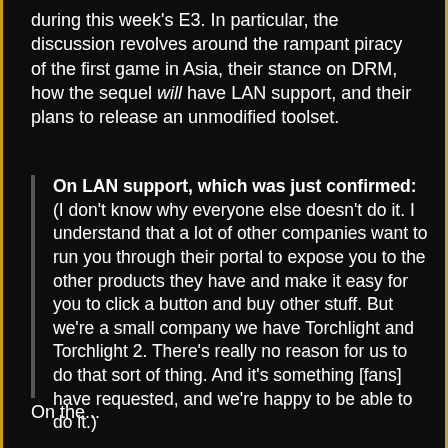during this week's E3. In particular, the discussion revolves around the rampant piracy of the first game in Asia, their stance on DRM, how the sequel will have LAN support, and their plans to release an unmodified toolset.
On LAN support, which was just confirmed: (I don't know why everyone else doesn't do it. I understand that a lot of other companies want to run you through their portal to expose you to the other products they have and make it easy for you to click a button and buy other stuff. But we're a small company we have Torchlight and Torchlight 2. There's really no reason for us to do that sort of thing. And it's something [fans] have requested, and we're happy to be able to do it.)
On the...